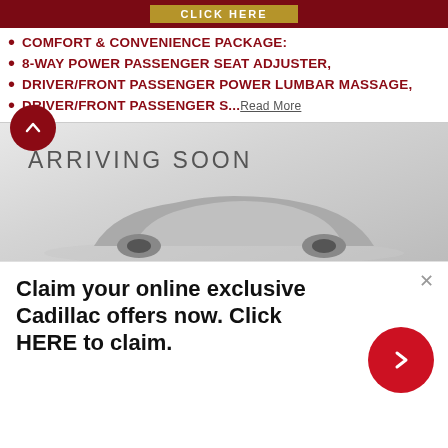[Figure (screenshot): Dark red banner with a gold 'CLICK HERE' button]
COMFORT & CONVENIENCE PACKAGE:
8-WAY POWER PASSENGER SEAT ADJUSTER,
DRIVER/FRONT PASSENGER POWER LUMBAR MASSAGE,
DRIVER/FRONT PASSENGER S... Read More
[Figure (screenshot): Arriving Soon banner with car silhouette on grey background]
Claim your online exclusive Cadillac offers now. Click HERE to claim.